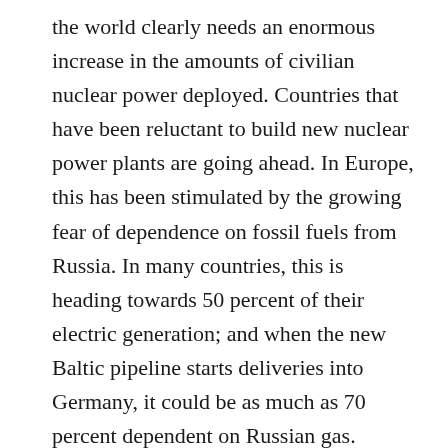the world clearly needs an enormous increase in the amounts of civilian nuclear power deployed. Countries that have been reluctant to build new nuclear power plants are going ahead. In Europe, this has been stimulated by the growing fear of dependence on fossil fuels from Russia. In many countries, this is heading towards 50 percent of their electric generation; and when the new Baltic pipeline starts deliveries into Germany, it could be as much as 70 percent dependent on Russian gas. Super-green Finland is building a fifth reactor. And the green-leaning Labor government in Britain has sanctioned more nuclear.